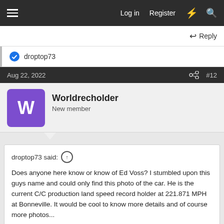Log in  Register
Reply
droptop73
Aug 22, 2022  #12
Worldrecholder
New member
droptop73 said:
Does anyone here know or know of Ed Voss? I stumbled upon this guys name and could only find this photo of the car. He is the current C/C production land speed record holder at 221.871 MPH at Bonneville. It would be cool to know more details and of course more photos...

View attachment 63320